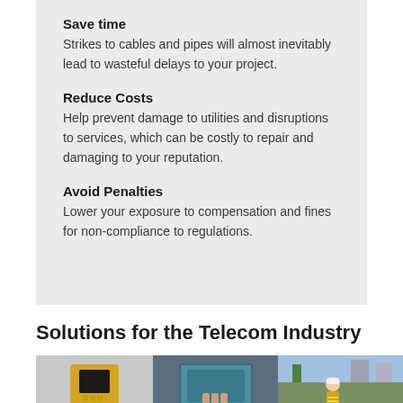Save time
Strikes to cables and pipes will almost inevitably lead to wasteful delays to your project.
Reduce Costs
Help prevent damage to utilities and disruptions to services, which can be costly to repair and damaging to your reputation.
Avoid Penalties
Lower your exposure to compensation and fines for non-compliance to regulations.
Solutions for the Telecom Industry
[Figure (photo): A yellow device on the left, and two photos showing a person using a handheld device and a worker in a high-vis vest in an outdoor urban setting.]